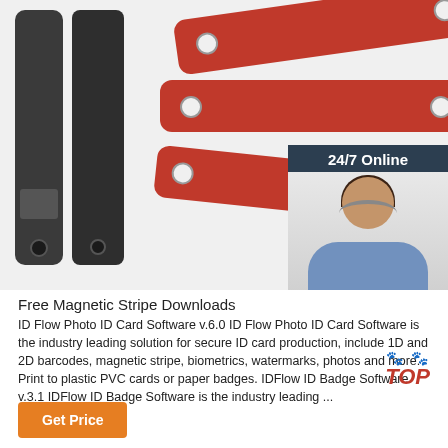[Figure (photo): Product photo showing red magnetic stripe wristbands/straps and dark gray card readers/scanners on white background, with a 24/7 online chat widget overlay showing a female customer service agent with headset]
Free Magnetic Stripe Downloads
ID Flow Photo ID Card Software v.6.0 ID Flow Photo ID Card Software is the industry leading solution for secure ID card production, include 1D and 2D barcodes, magnetic stripe, biometrics, watermarks, photos and more. Print to plastic PVC cards or paper badges. IDFlow ID Badge Software v.3.1 IDFlow ID Badge Software is the industry leading ...
[Figure (logo): TOP badge with red paw prints above the word TOP in red italic bold text]
Get Price